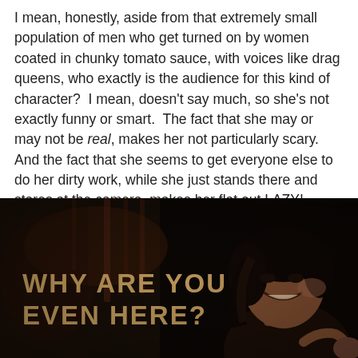I mean, honestly, aside from that extremely small population of men who get turned on by women coated in chunky tomato sauce, with voices like drag queens, who exactly is the audience for this kind of character?  I mean, doesn't say much, so she's not exactly funny or smart.  The fact that she may or may not be real, makes her not particularly scary.  And the fact that she seems to get everyone else to do her dirty work, while she just stands there and stares at the camera, makes her flat out LAZY!
[Figure (photo): Dark sepia-toned photo of a smiling young man with dark hair against a dark background, with bold text overlay reading 'WHY ARE YOU EVEN HERE?']